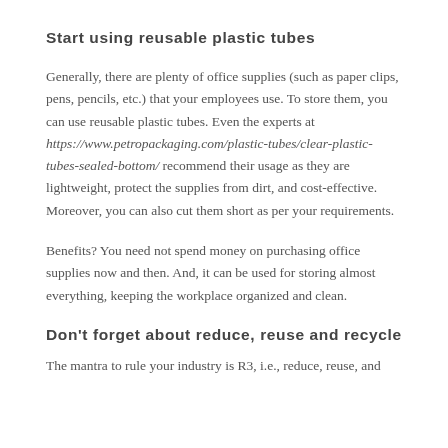Start using reusable plastic tubes
Generally, there are plenty of office supplies (such as paper clips, pens, pencils, etc.) that your employees use. To store them, you can use reusable plastic tubes. Even the experts at https://www.petropackaging.com/plastic-tubes/clear-plastic-tubes-sealed-bottom/ recommend their usage as they are lightweight, protect the supplies from dirt, and cost-effective. Moreover, you can also cut them short as per your requirements.
Benefits? You need not spend money on purchasing office supplies now and then. And, it can be used for storing almost everything, keeping the workplace organized and clean.
Don’t forget about reduce, reuse and recycle
The mantra to rule your industry is R3, i.e., reduce, reuse, and